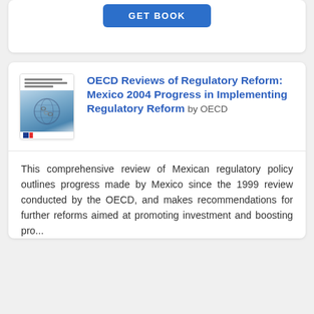[Figure (other): GET BOOK button (blue, rounded rectangle) at top of page, partially cropped]
OECD Reviews of Regulatory Reform: Mexico 2004 Progress in Implementing Regulatory Reform by OECD
[Figure (illustration): Book cover thumbnail showing a globe/chain image with blue background and OECD text lines at top]
This comprehensive review of Mexican regulatory policy outlines progress made by Mexico since the 1999 review conducted by the OECD, and makes recommendations for further reforms aimed at promoting investment and boosting pro...